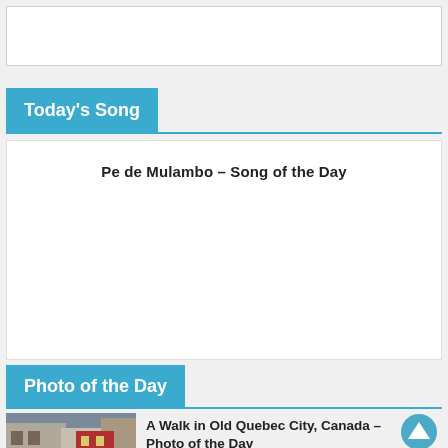[Figure (other): Empty white bordered box at top of page]
Today's Song
Pe de Mulambo – Song of the Day
Photo of the Day
[Figure (photo): Street scene in Old Quebec City, Canada, showing narrow cobblestone street with colorful buildings and flower boxes]
A Walk in Old Quebec City, Canada – Photo of the Day